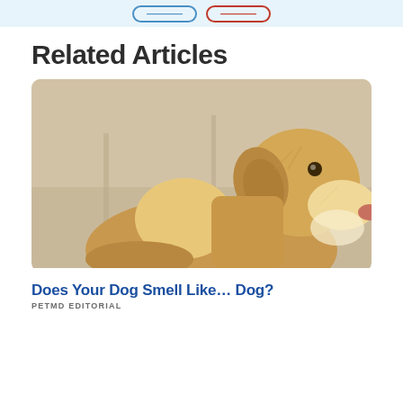[Figure (other): Top banner with two pill-shaped buttons — one blue outline and one red outline — on a light blue background]
Related Articles
[Figure (photo): Close-up photo of a golden/yellow Labrador Retriever dog sitting on a beige couch, looking upward and to the right, with a neutral background]
Does Your Dog Smell Like… Dog?
PETMD EDITORIAL